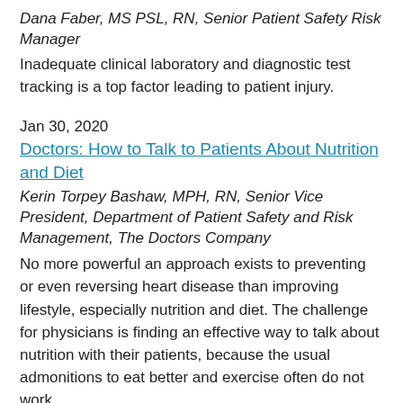Dana Faber, MS PSL, RN, Senior Patient Safety Risk Manager
Inadequate clinical laboratory and diagnostic test tracking is a top factor leading to patient injury.
Jan 30, 2020
Doctors: How to Talk to Patients About Nutrition and Diet
Kerin Torpey Bashaw, MPH, RN, Senior Vice President, Department of Patient Safety and Risk Management, The Doctors Company
No more powerful an approach exists to preventing or even reversing heart disease than improving lifestyle, especially nutrition and diet. The challenge for physicians is finding an effective way to talk about nutrition with their patients, because the usual admonitions to eat better and exercise often do not work.